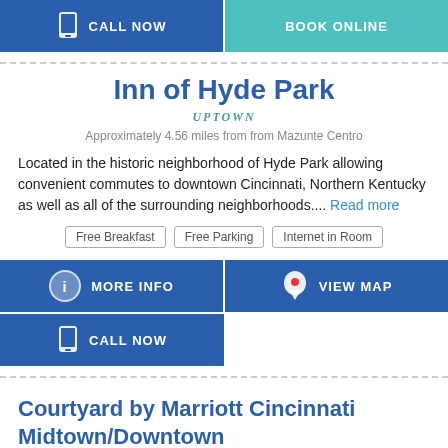CALL NOW | BOOK ONLINE
Inn of Hyde Park
UPTOWN
Approximately 4.56 miles from from Mazunte Centro
Located in the historic neighborhood of Hyde Park allowing convenient commutes to downtown Cincinnati, Northern Kentucky as well as all of the surrounding neighborhoods.... Read more
Free Breakfast
Free Parking
Internet in Room
MORE INFO | VIEW MAP
CALL NOW
Courtyard by Marriott Cincinnati